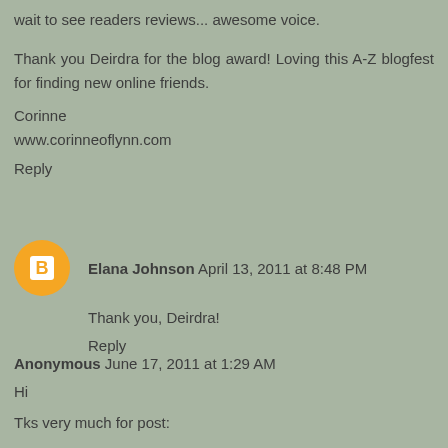wait to see readers reviews... awesome voice.
Thank you Deirdra for the blog award! Loving this A-Z blogfest for finding new online friends.
Corinne
www.corinneoflynn.com
Reply
Elana Johnson  April 13, 2011 at 8:48 PM
Thank you, Deirdra!
Reply
Anonymous  June 17, 2011 at 1:29 AM
Hi
Tks very much for post:
I like it and hope that you continue posting.